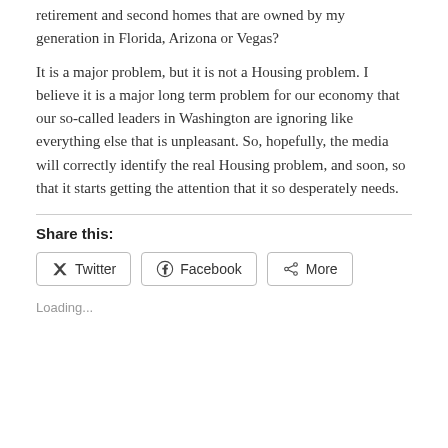retirement and second homes that are owned by my generation in Florida, Arizona or Vegas?
It is a major problem, but it is not a Housing problem. I believe it is a major long term problem for our economy that our so-called leaders in Washington are ignoring like everything else that is unpleasant. So, hopefully, the media will correctly identify the real Housing problem, and soon, so that it starts getting the attention that it so desperately needs.
Share this:
Loading...